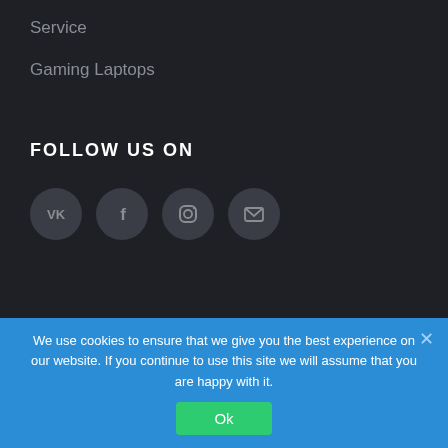Service
Gaming Laptops
FOLLOW US ON
[Figure (infographic): Four circular social media icon buttons: VK, Facebook, Instagram, and Email/envelope icons on dark gray circular backgrounds.]
We use cookies to ensure that we give you the best experience on our website. If you continue to use this site we will assume that you are happy with it.
Ok